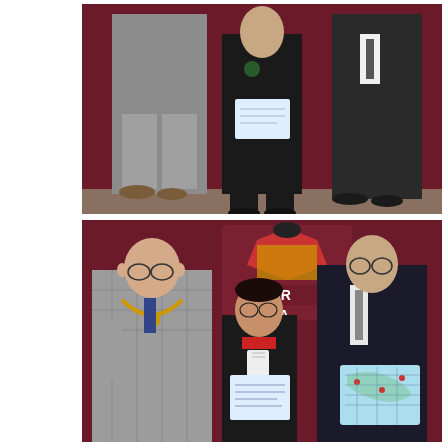[Figure (photo): Two adults and a student standing in front of a dark maroon/burgundy backdrop. The student in the center is wearing a dark school uniform and holding a certificate. The adults on either side are wearing suits.]
[Figure (photo): Three people standing in front of a dark maroon/burgundy backdrop showing a crest and text reading 'MAYOR OF VERHA...' (Wolverhampton). On the left is a man wearing a mayoral chain over a checked suit. In the center is a young female student in school uniform holding a certificate. On the right is a man in a dark suit holding what appears to be a colorful artwork or map.]